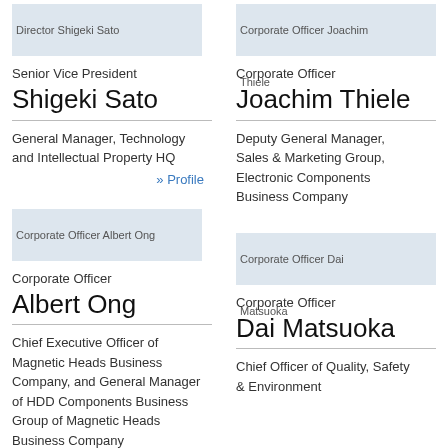[Figure (photo): Photo placeholder for Director Shigeki Sato]
Senior Vice President
Shigeki Sato
General Manager, Technology and Intellectual Property HQ
» Profile
[Figure (photo): Photo placeholder for Corporate Officer Joachim Thiele]
Corporate Officer
Joachim Thiele
Deputy General Manager, Sales & Marketing Group, Electronic Components Business Company
[Figure (photo): Photo placeholder for Corporate Officer Albert Ong]
Corporate Officer
Albert Ong
Chief Executive Officer of Magnetic Heads Business Company, and General Manager of HDD Components Business Group of Magnetic Heads Business Company
[Figure (photo): Photo placeholder for Corporate Officer Dai Matsuoka]
Corporate Officer
Dai Matsuoka
Chief Officer of Quality, Safety & Environment